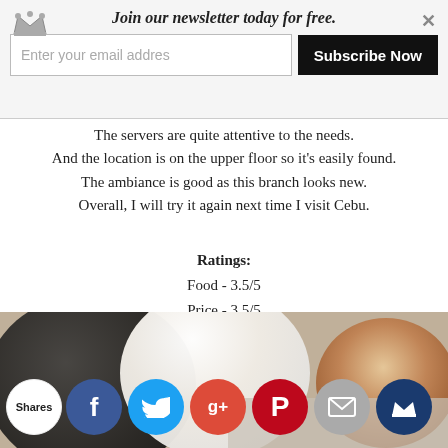[Figure (screenshot): Newsletter subscription banner with crown icon, email input field, Subscribe Now button, and close X button]
The servers are quite attentive to the needs. And the location is on the upper floor so it's easily found. The ambiance is good as this branch looks new. Overall, I will try it again next time I visit Cebu.
Ratings:
Food - 3.5/5
Price - 3.5/5
Ambiance - 4/5
Service - 3.5/5
Location - 4/5
Ayer's Lechon Menu, Reviews, Photos, Location and Info - Zomato
[Figure (photo): Food photo showing bowls of food including a dark bowl and a white bowl with rice, and a plate with meat on the right]
[Figure (infographic): Social sharing bar with Shares label and buttons for Facebook, Twitter, Google+, Pinterest, Email, and Crown/bookmark]